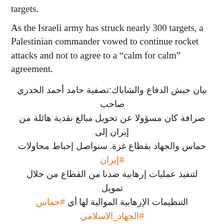targets.
As the Israeli army has struck nearly 300 targets, a Palestinian commander vowed to continue rocket attacks and not to agree to a “calm for calm” agreement.
بيان جيش الدفاع والشاباك:تصفية حامد أحمد الخدري صاحب صرافة كان مسؤولا عن تحويل مبالغ نقدية هائلة من إيران إلى حماس والجهاد بقطاع غزة. سنواصل إحباط محاولات #إيران لتنفيذ عمليات إرهابية ضدنا من خلال تمويل التنظيمات الإرهابية الموالية لها أي #حماس #الجهاد_الاسلامي وغيرها pic.twitter.com/WMN2Ciwwlh
— إسرائيل بالعربية (@IsraelArabic) May 5, 2019
Iran on Sunday condemned what it called Israel's "savage" attack on Gaza, and blamed "unlimited